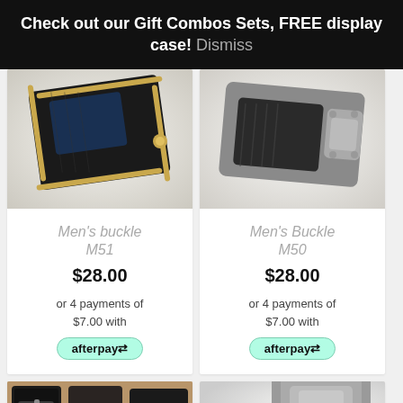Check out our Gift Combos Sets, FREE display case! Dismiss
[Figure (photo): Men's buckle M51 product photo - black and gold belt buckle on white background]
Men's buckle M51
$28.00
or 4 payments of $7.00 with afterpay
[Figure (photo): Men's Buckle M50 product photo - silver and black belt buckle on white background]
Men's Buckle M50
$28.00
or 4 payments of $7.00 with afterpay
[Figure (photo): Belt product photo - black leather belts on warm background]
[Figure (photo): Buckle product photo - silver buckle on light background]